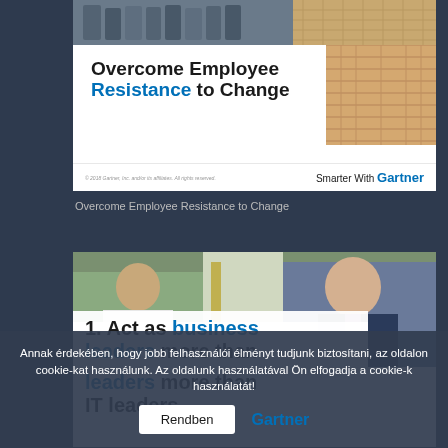[Figure (screenshot): Gartner report cover: 'Overcome Employee Resistance to Change' with a photo of stairs/ladder and text 'Smarter With Gartner' at the bottom]
Overcome Employee Resistance to Change
[Figure (screenshot): Photo of two businessmen in an office with overlay text '1. Act as business leaders more than IT leaders']
Annak érdekében, hogy jobb felhasználói élményt tudjunk biztosítani, az oldalon cookie-kat használunk. Az oldalunk használatával Ön elfogadja a cookie-k használatát!